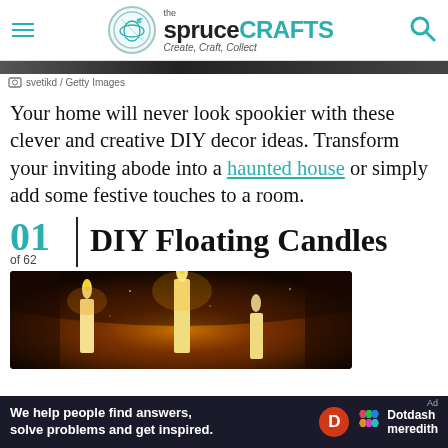the spruce CRAFTS — Create, Craft, Collect
[Figure (photo): Dark image strip at top of page content]
svetikd / Getty Images
Your home will never look spookier with these clever and creative DIY decor ideas. Transform your inviting abode into a haunted house or simply add some festive touches to a room.
01 of 62 DIY Floating Candles
[Figure (photo): Photo of DIY floating candles — glowing candles against a dark background with warm orange and golden light]
We help people find answers, solve problems and get inspired. Dotdash meredith